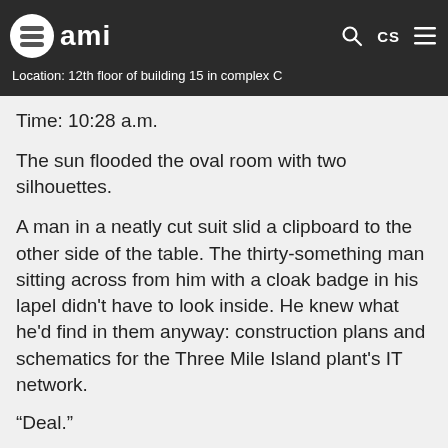ami — Location: 12th floor of building 15 in complex C
Time: 10:28 a.m.
The sun flooded the oval room with two silhouettes.
A man in a neatly cut suit slid a clipboard to the other side of the table. The thirty-something man sitting across from him with a cloak badge in his lapel didn't have to look inside. He knew what he'd find in them anyway: construction plans and schematics for the Three Mile Island plant's IT network.
“Deal.”
“Usual procedure?”